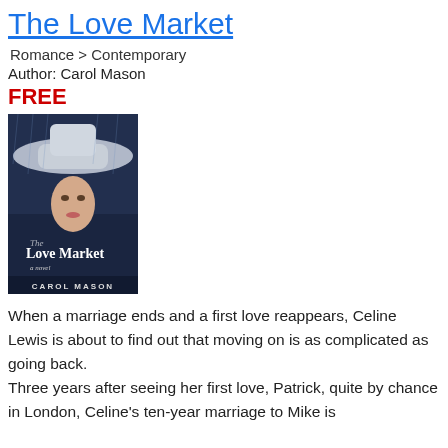The Love Market
Romance > Contemporary
Author: Carol Mason
FREE
[Figure (photo): Book cover of 'The Love Market' by Carol Mason, showing a woman in a wide-brimmed hat with the title and author name on the cover.]
When a marriage ends and a first love reappears, Celine Lewis is about to find out that moving on is as complicated as going back. Three years after seeing her first love, Patrick, quite by chance in London, Celine's ten-year marriage to Mike is